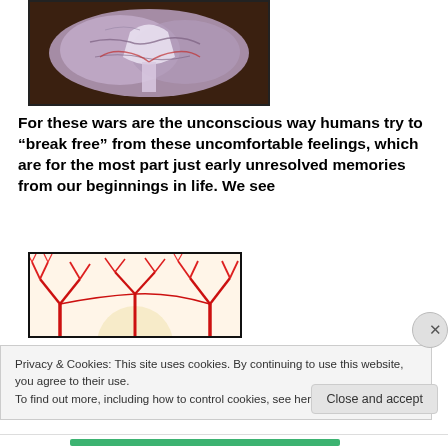[Figure (photo): Cross-section of a human brain showing white and pink tissue with branching structures, on a dark background]
For these wars are the unconscious way humans try to “break free” from these uncomfortable feelings, which are for the most part just early unresolved memories from our beginnings in life. We see
[Figure (illustration): Illustration of red blood vessels branching in a tree-like pattern against a light background]
Privacy & Cookies: This site uses cookies. By continuing to use this website, you agree to their use.
To find out more, including how to control cookies, see here: Cookie Policy